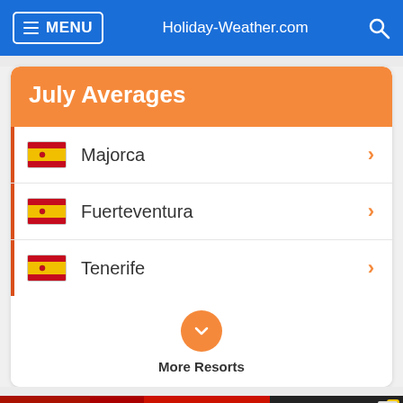MENU   Holiday-Weather.com
July Averages
Majorca
Fuerteventura
Tenerife
More Resorts
[Figure (photo): BitLife advertisement banner: FAIL image with animation and text START A NEW LIFE]